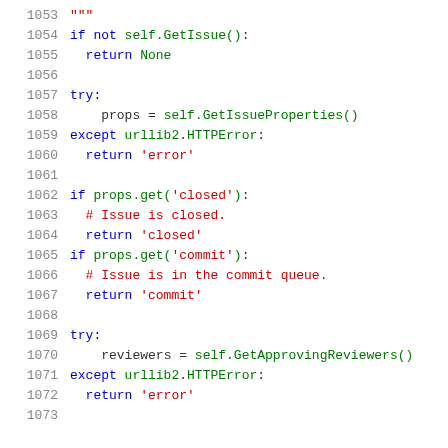Source code listing lines 1053-1073, Python code snippet